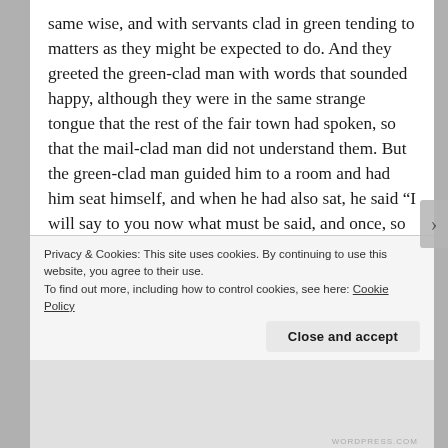same wise, and with servants clad in green tending to matters as they might be expected to do. And they greeted the green-clad man with words that sounded happy, although they were in the same strange tongue that the rest of the fair town had spoken, so that the mail-clad man did not understand them. But the green-clad man guided him to a room and had him seat himself, and when he had also sat, he said “I will say to you now what must be said, and once, so that you know the enterprise wherein you find yourself and what will need to be done if I cannot do it. For the task has fallen to me, and while I know I
Privacy & Cookies: This site uses cookies. By continuing to use this website, you agree to their use.
To find out more, including how to control cookies, see here: Cookie Policy
Close and accept